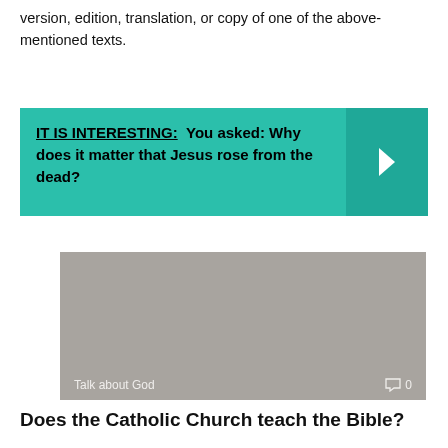version, edition, translation, or copy of one of the above-mentioned texts.
[Figure (infographic): Teal banner with text: IT IS INTERESTING: You asked: Why does it matter that Jesus rose from the dead? with a right-arrow chevron on the right side on a darker teal background.]
[Figure (photo): Thumbnail image with grey background. Bottom bar shows 'Talk about God' on the left and a comment icon with '0' on the right.]
Does the Catholic Church teach the Bible?